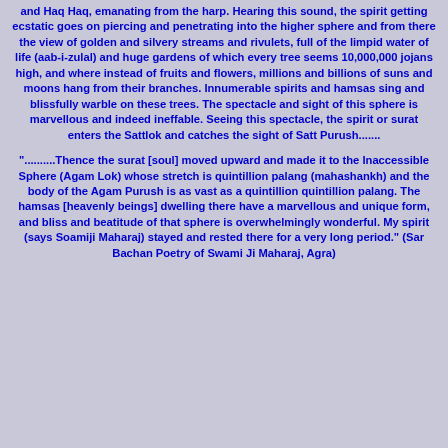and Haq Haq, emanating from the harp. Hearing this sound, the spirit getting ecstatic goes on piercing and penetrating into the higher sphere and from there the view of golden and silvery streams and rivulets, full of the limpid water of life (aab-i-zulal) and huge gardens of which every tree seems 10,000,000 jojans high, and where instead of fruits and flowers, millions and billions of suns and moons hang from their branches. Innumerable spirits and hamsas sing and blissfully warble on these trees. The spectacle and sight of this sphere is marvellous and indeed ineffable. Seeing this spectacle, the spirit or surat enters the Sattlok and catches the sight of Satt Purush.......
"..........Thence the surat [soul] moved upward and made it to the Inaccessible Sphere (Agam Lok) whose stretch is quintillion palang (mahashankh) and the body of the Agam Purush is as vast as a quintillion quintillion palang. The hamsas [heavenly beings] dwelling there have a marvellous and unique form, and bliss and beatitude of that sphere is overwhelmingly wonderful. My spirit (says Soamiji Maharaj) stayed and rested there for a very long period." (Sar Bachan Poetry of Swami Ji Maharaj, Agra)